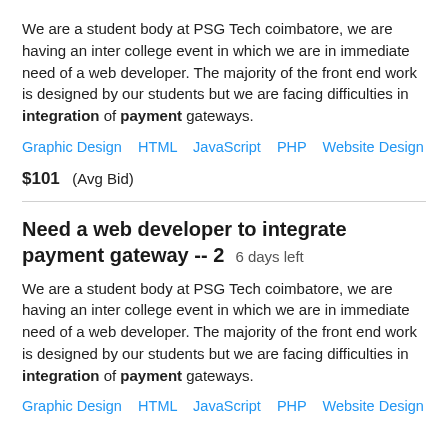We are a student body at PSG Tech coimbatore, we are having an inter college event in which we are in immediate need of a web developer. The majority of the front end work is designed by our students but we are facing difficulties in integration of payment gateways.
Graphic Design   HTML   JavaScript   PHP   Website Design
$101  (Avg Bid)
Need a web developer to integrate payment gateway -- 2  6 days left
We are a student body at PSG Tech coimbatore, we are having an inter college event in which we are in immediate need of a web developer. The majority of the front end work is designed by our students but we are facing difficulties in integration of payment gateways.
Graphic Design   HTML   JavaScript   PHP   Website Design